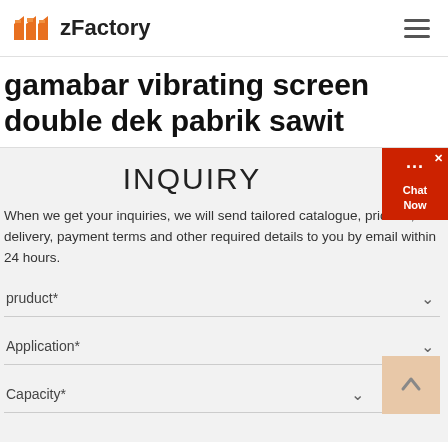zFactory
gamabar vibrating screen double dek pabrik sawit
INQUIRY
When we get your inquiries, we will send tailored catalogue, pricelist, delivery, payment terms and other required details to you by email within 24 hours.
pruduct*
Application*
Capacity*